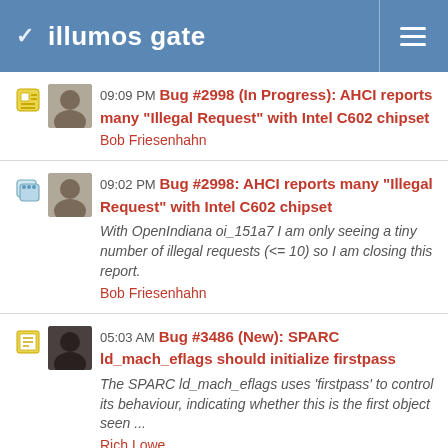illumos gate
09:09 PM Bug #2998 (In Progress): AHCI reports many "Illegal Request" with Intel C602 chipset
Bob Friesenhahn
09:02 PM Bug #2998: AHCI reports many "Illegal Request" with Intel C602 chipset
With OpenIndiana oi_151a7 I am only seeing a tiny number of illegal requests (<= 10) so I am closing this report.
Bob Friesenhahn
05:03 AM Bug #3486 (New): SPARC ld_mach_eflags should initialize firstpass
The SPARC ld_mach_eflags uses 'firstpass' to control its behaviour, indicating whether this is the first object seen ...
Rich Lowe